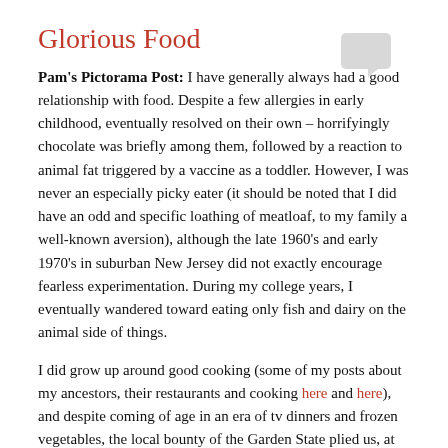Glorious Food
[Figure (illustration): Chat bubble / speech balloon icon in light gray, top right corner]
Pam's Pictorama Post: I have generally always had a good relationship with food. Despite a few allergies in early childhood, eventually resolved on their own – horrifyingly chocolate was briefly among them, followed by a reaction to animal fat triggered by a vaccine as a toddler. However, I was never an especially picky eater (it should be noted that I did have an odd and specific loathing of meatloaf, to my family a well-known aversion), although the late 1960's and early 1970's in suburban New Jersey did not exactly encourage fearless experimentation. During my college years, I eventually wandered toward eating only fish and dairy on the animal side of things.
I did grow up around good cooking (some of my posts about my ancestors, their restaurants and cooking here and here), and despite coming of age in an era of tv dinners and frozen vegetables, the local bounty of the Garden State plied us, at least seasonally, with fresh vegetables (nothing like a sun warmed Jersey tomato or corn right off the vine), and locally